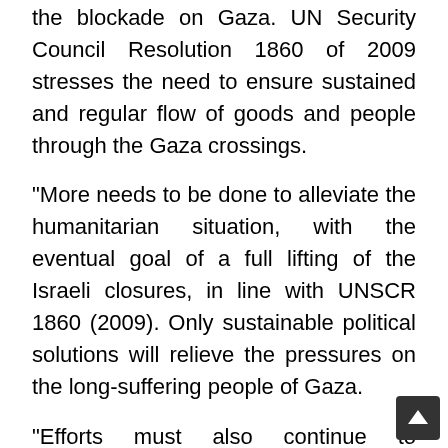the blockade on Gaza. UN Security Council Resolution 1860 of 2009 stresses the need to ensure sustained and regular flow of goods and people through the Gaza crossings.
"More needs to be done to alleviate the humanitarian situation, with the eventual goal of a full lifting of the Israeli closures, in line with UNSCR 1860 (2009). Only sustainable political solutions will relieve the pressures on the long-suffering people of Gaza.
"Efforts must also continue to encourage all Palestinian political factions towards political